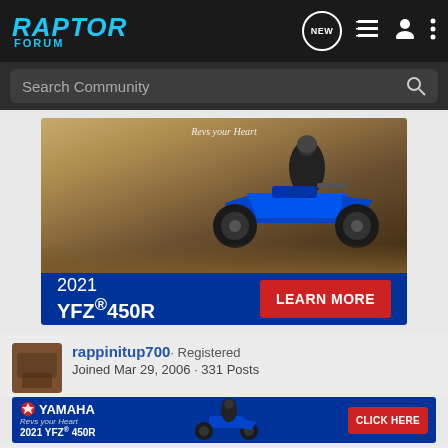RAPTOR FORUM
Search Community
[Figure (photo): Advertisement for 2021 YFZ 450R Yamaha ATV. Shows a rider on a blue Yamaha YFZ 450R quad in a desert setting. Bottom banner reads '2021 YFZ®450R' with a LEARN MORE button on blue background.]
rappinitup700 · Registered
Joined Mar 29, 2006 · 331 Posts
[Figure (photo): Small Yamaha advertisement banner showing 2021 YFZ® 450R with CLICK HERE button]
#13 · Ma...